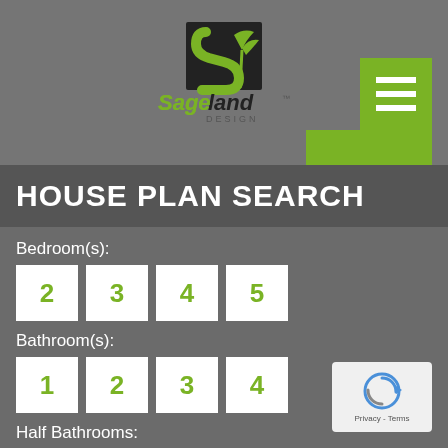[Figure (logo): Sageland Design logo with green S and palm tree icon, company name in green and black]
HOUSE PLAN SEARCH
Bedroom(s):
2
3
4
5
Bathroom(s):
1
2
3
4
Half Bathrooms:
Stories:
1
2
Garage Bays: